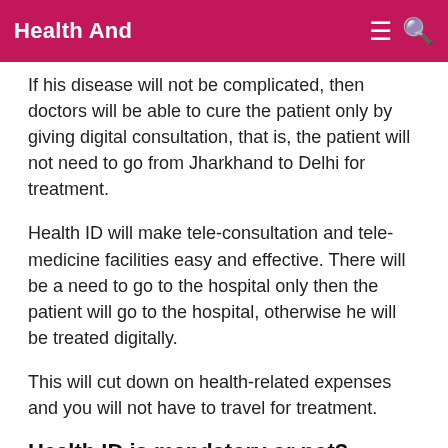Health And
If his disease will not be complicated, then doctors will be able to cure the patient only by giving digital consultation, that is, the patient will not need to go from Jharkhand to Delhi for treatment.
Health ID will make tele-consultation and tele-medicine facilities easy and effective. There will be a need to go to the hospital only then the patient will go to the hospital, otherwise he will be treated digitally.
This will cut down on health-related expenses and you will not have to travel for treatment.
Health ID is mandatory or not?
Health ID is mandatory or not? Or will it be made mandatory in the future? On these questions, Dr. Sharma said that it is not absolutely mandatory, nor will it be made mandatory in future.